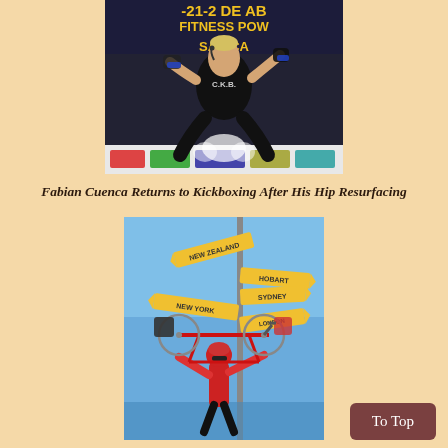[Figure (photo): Fabian Cuenca performing kickboxing on stage wearing a black CKB tank top with a microphone headset, in a wide stance position. Background shows a promotional banner with text '-21-2 DE AB', 'FITNESS POW', 'SAN...CA'.]
Fabian Cuenca Returns to Kickboxing After His Hip Resurfacing
[Figure (photo): A cyclist in red/black cycling gear and helmet holding a red road bicycle overhead at a signpost with yellow directional signs pointing to various cities including Hobart, Sydney, New Zealand, New York and others. Blue sky in background.]
To Top